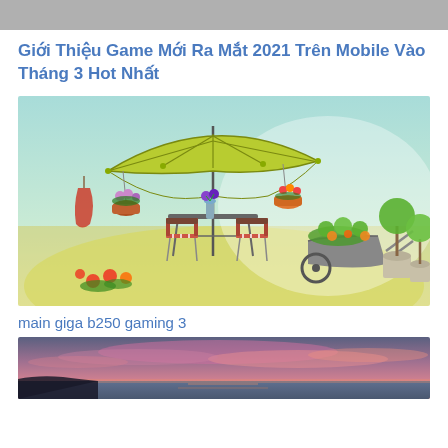Giới Thiệu Game Mới Ra Mắt 2021 Trên Mobile Vào Tháng 3 Hot Nhất
[Figure (illustration): Watercolor illustration of a garden scene with a yellow-green patio umbrella, outdoor table and chairs, hanging flower baskets, potted flowers, and a wheelbarrow with plants on the right side]
main giga b250 gaming 3
[Figure (photo): Photograph showing a sunset or sunrise over water with pink and purple clouds and a dark silhouette of land or figure in the lower left]